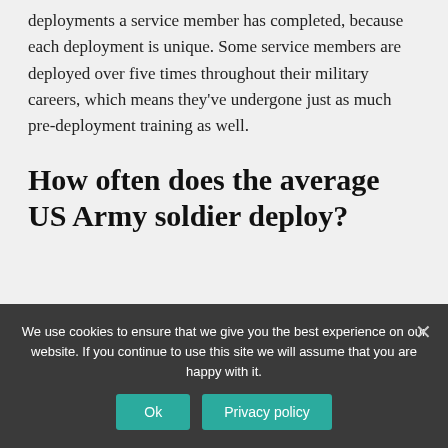deployments a service member has completed, because each deployment is unique. Some service members are deployed over five times throughout their military careers, which means they've undergone just as much pre-deployment training as well.
How often does the average US Army soldier deploy?
We use cookies to ensure that we give you the best experience on our website. If you continue to use this site we will assume that you are happy with it.